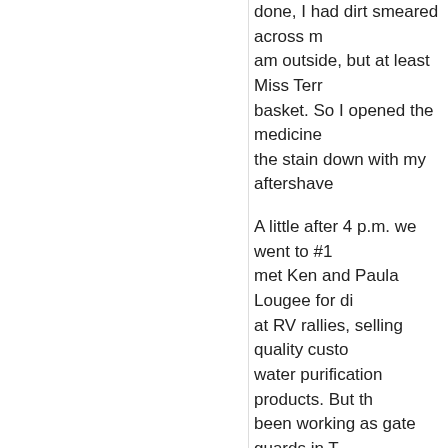done, I had dirt smeared across m... am outside, but at least Miss Terr... basket. So I opened the medicine... the stain down with my aftershave...
A little after 4 p.m. we went to #1... met Ken and Paula Lougee for di... at RV rallies, selling quality custo... water purification products. But th... been working as gate guards in T... compared their gate guarding exp... and are preparing to again soon.
I'm too lazy for work like that. I'd r... writing them, I enjoy reading othe... back is indie author Scott Langm... Virginia, a town that is the setting... author, Adriana Trigiani. You can g... my self-publishing blog.